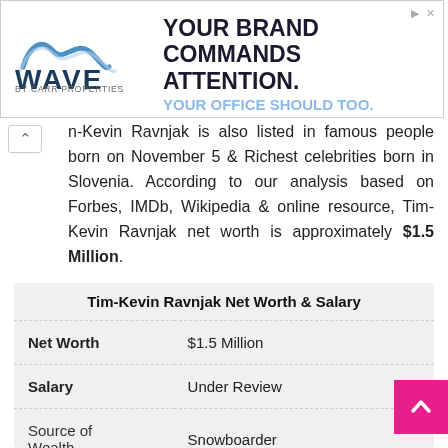[Figure (other): WAVE by Carr Properties advertisement banner. Text reads: YOUR BRAND COMMANDS ATTENTION. YOUR OFFICE SHOULD TOO.]
Tim-Kevin Ravnjak is also listed in famous people born on November 5 & Richest celebrities born in Slovenia. According to our analysis based on Forbes, IMDb, Wikipedia & online resource, Tim-Kevin Ravnjak net worth is approximately $1.5 Million.
|  | Tim-Kevin Ravnjak Net Worth & Salary |
| --- | --- |
| Net Worth | $1.5 Million |
| Salary | Under Review |
| Source of Wealth | Snowboarder |
| Cars | N/A |